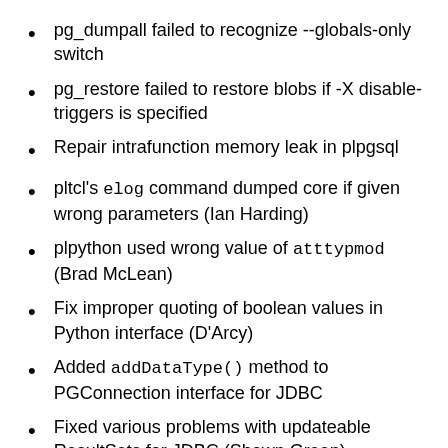pg_dumpall failed to recognize --globals-only switch
pg_restore failed to restore blobs if -X disable-triggers is specified
Repair intrafunction memory leak in plpgsql
pltcl's elog command dumped core if given wrong parameters (Ian Harding)
plpython used wrong value of atttypmod (Brad McLean)
Fix improper quoting of boolean values in Python interface (D'Arcy)
Added addDataType() method to PGConnection interface for JDBC
Fixed various problems with updateable ResultSets for JDBC (Shawn Green)
Fixed various problems with DatabaseMetaData for JDBC